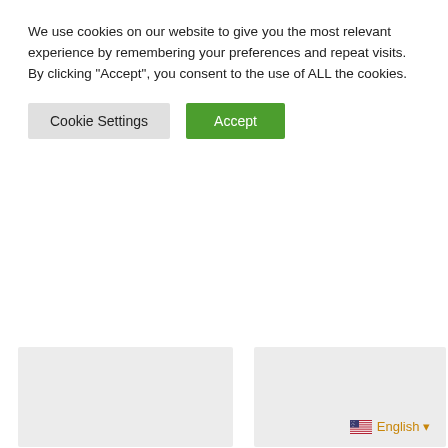We use cookies on our website to give you the most relevant experience by remembering your preferences and repeat visits. By clicking "Accept", you consent to the use of ALL the cookies.
Cookie Settings | Accept
Balaclava with Specialized Stitching ★★★★★ 44.00 USD
Face Balaclava with Unobstructed Vision and Heat Distribution ★★★★★ 45.00 USD
[Figure (photo): Product image placeholder (light grey rectangle) - left product]
[Figure (photo): Product image placeholder (light grey rectangle) - right product]
English ▼